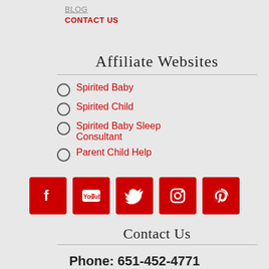BLOG
CONTACT US
Affiliate Websites
Spirited Baby
Spirited Child
Spirited Baby Sleep Consultant
Parent Child Help
[Figure (infographic): Five red square social media icons: Facebook, YouTube, Twitter, Instagram, Pinterest]
Contact Us
Phone: 651-452-4771